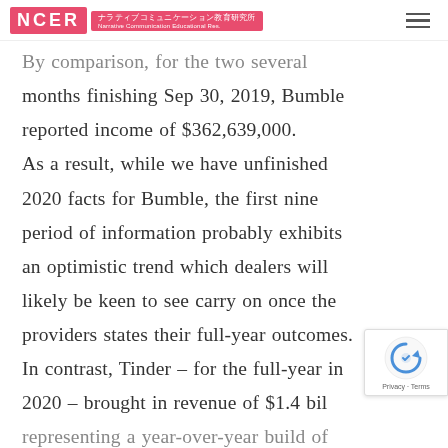NCER ナラティブコミュニケーション教育研究所 Narrative Communication Educational Res.
By comparison, for the two several months finishing Sep 30, 2019, Bumble reported income of $362,639,000. As a result, while we have unfinished 2020 facts for Bumble, the first nine period of information probably exhibits an optimistic trend which dealers will likely be keen to see carry on once the providers states their full-year outcomes. In contrast, Tinder – for the full-year in 2020 – brought in revenue of $1.4 bil representing a year-over-year build of